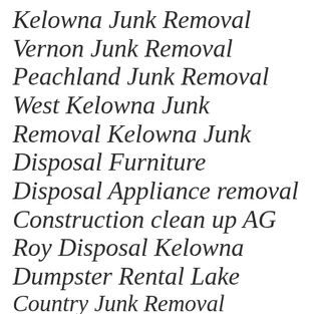Kelowna Junk Removal
Vernon Junk Removal
Peachland Junk Removal
West Kelowna Junk Removal Kelowna Junk Disposal Furniture Disposal Appliance removal
Construction clean up AG Roy Disposal Kelowna Dumpster Rental Lake Country Junk Removal